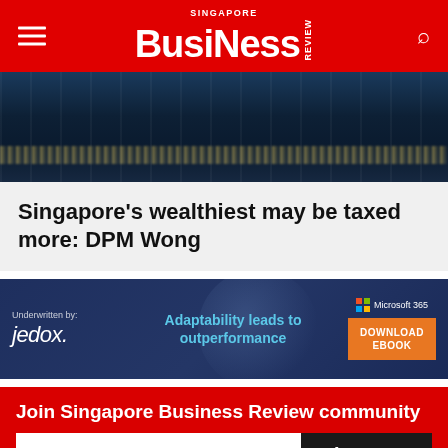Singapore Business Review
[Figure (photo): Dark nighttime cityscape with lights reflecting on water]
Singapore's wealthiest may be taxed more: DPM Wong
[Figure (infographic): Jedox advertisement banner: Underwritten by jedox. Adaptability leads to outperformance. Microsoft 365. DOWNLOAD EBOOK]
Join Singapore Business Review community
Your e-mail address
Sign up